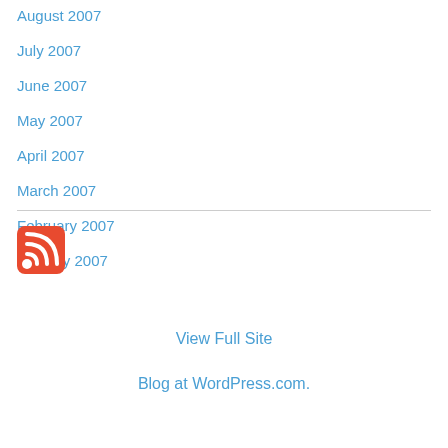August 2007
July 2007
June 2007
May 2007
April 2007
March 2007
February 2007
January 2007
[Figure (logo): RSS feed icon — red rounded square with white wifi-style signal arcs]
View Full Site
Blog at WordPress.com.